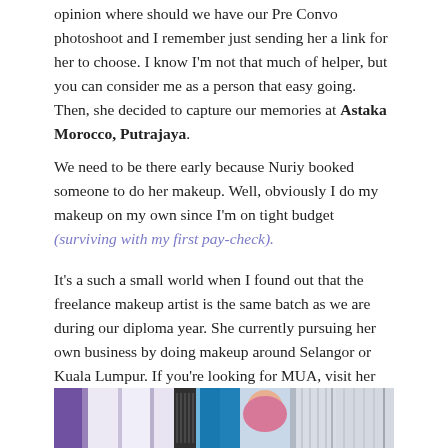opinion where should we have our Pre Convo photoshoot and I remember just sending her a link for her to choose. I know I'm not that much of helper, but you can consider me as a person that easy going. Then, she decided to capture our memories at Astaka Morocco, Putrajaya.
We need to be there early because Nuriy booked someone to do her makeup. Well, obviously I do my makeup on my own since I'm on tight budget (surviving with my first pay-check).
It's a such a small world when I found out that the freelance makeup artist is the same batch as we are during our diploma year. She currently pursuing her own business by doing makeup around Selangor or Kuala Lumpur. If you're looking for MUA, visit her instagram: titibeauty_.
[Figure (photo): A person wearing a pink/rose patterned hijab standing among hanging garments of various colors including purple, white, grey, blue, and striped fabric.]